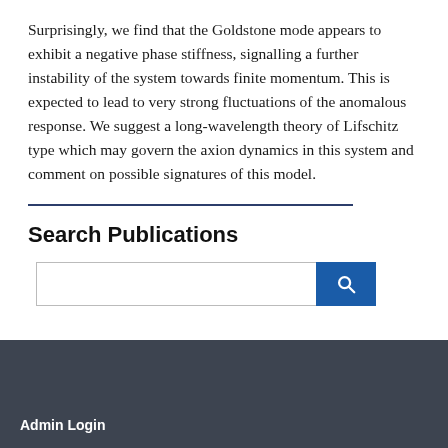Surprisingly, we find that the Goldstone mode appears to exhibit a negative phase stiffness, signalling a further instability of the system towards finite momentum. This is expected to lead to very strong fluctuations of the anomalous response. We suggest a long-wavelength theory of Lifschitz type which may govern the axion dynamics in this system and comment on possible signatures of this model.
Search Publications
[Figure (other): Search bar with text input field and blue search button with magnifying glass icon]
Admin Login